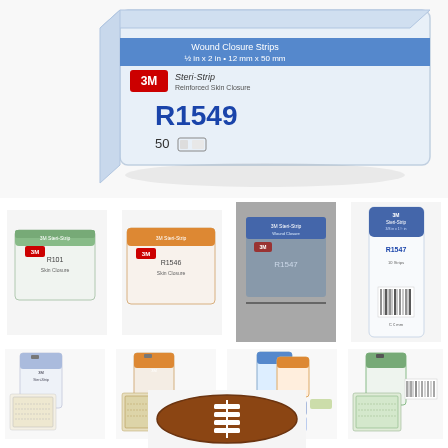[Figure (photo): Large white cardboard box of 3M Steri-Strip wound closure strips, model R1549, 1/2 in x 2 in / 12mm x 50mm, 50 count, shown from a slightly elevated angle against a white background.]
[Figure (photo): Row of four product images: two boxes of 3M Steri-Strip (one with green label, one with orange label), a photograph of a blue-labeled box, and a single-packet retail package labeled R1547.]
[Figure (photo): Row of four product images: individual Steri-Strip packets showing reinforced skin closure strips in various colors — blue/white, orange/tan, mixed colors, and green/white.]
[Figure (photo): Close-up photo of a football with white Steri-Strip-style lacing pattern on the brown leather surface.]